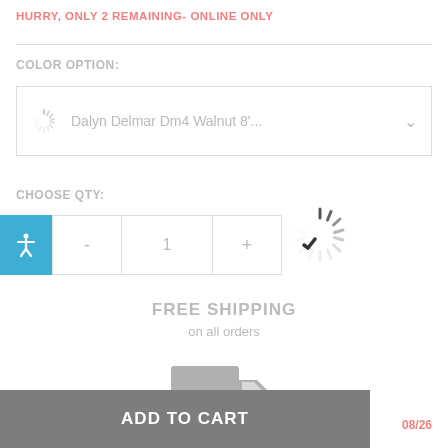HURRY, ONLY 2 REMAINING- ONLINE ONLY
COLOR OPTION:
Dalyn Delmar Dm4 Walnut 8'...
CHOOSE QTY:
1
[Figure (other): Loading spinner icon (large)]
FREE SHIPPING
on all orders
[Figure (illustration): Delivery truck icon in gray]
ADD TO CART
08/26